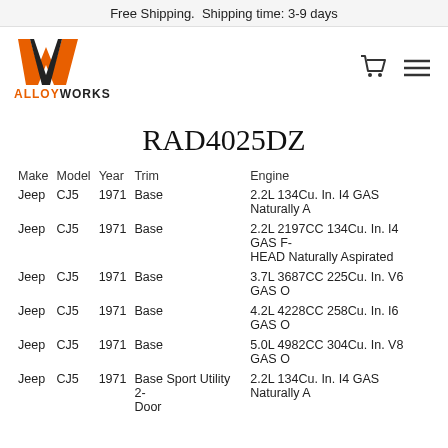Free Shipping.  Shipping time: 3-9 days
[Figure (logo): AlloyWorks logo with orange W mark and ALLOYWORKS text]
RAD4025DZ
| Make | Model | Year | Trim | Engine |
| --- | --- | --- | --- | --- |
| Jeep | CJ5 | 1971 | Base | 2.2L 134Cu. In. I4 GAS Naturally A |
| Jeep | CJ5 | 1971 | Base | 2.2L 2197CC 134Cu. In. I4 GAS F- HEAD Naturally Aspirated |
| Jeep | CJ5 | 1971 | Base | 3.7L 3687CC 225Cu. In. V6 GAS O |
| Jeep | CJ5 | 1971 | Base | 4.2L 4228CC 258Cu. In. I6 GAS O |
| Jeep | CJ5 | 1971 | Base | 5.0L 4982CC 304Cu. In. V8 GAS O |
| Jeep | CJ5 | 1971 | Base Sport Utility 2-Door | 2.2L 134Cu. In. I4 GAS Naturally A |